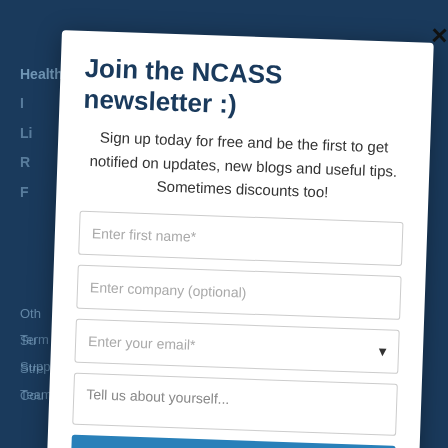[Figure (screenshot): Dark navy blue website background with partially visible navigation menu items including 'Health & Safety' and other truncated links]
Join the NCASS newsletter :)
Sign up today for free and be the first to get notified on updates, new blogs and useful tips. Sometimes discounts too!
Enter first name*
Enter company (optional)
Enter your email*
Tell us about yourself...
Subscribe